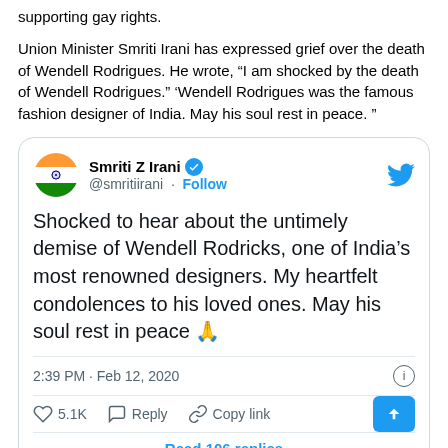supporting gay rights.
Union Minister Smriti Irani has expressed grief over the death of Wendell Rodrigues. He wrote, “I am shocked by the death of Wendell Rodrigues.” ‘Wendell Rodrigues was the famous fashion designer of India. May his soul rest in peace. ”
[Figure (screenshot): Tweet by Smriti Z Irani (@smritiirani) with verified badge and Follow button. Tweet text: Shocked to hear about the untimely demise of Wendell Rodricks, one of India’s most renowned designers. My heartfelt condolences to his loved ones. May his soul rest in peace 🙏. Posted at 2:39 PM · Feb 12, 2020. 5.1K likes, Reply, Copy link actions. Read 106 replies.]